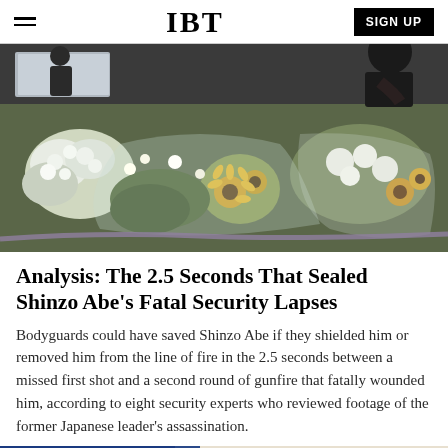IBT | SIGN UP
[Figure (photo): Flower bouquets and floral arrangements at a memorial, with people in the background handling flowers wrapped in cellophane.]
Analysis: The 2.5 Seconds That Sealed Shinzo Abe's Fatal Security Lapses
Bodyguards could have saved Shinzo Abe if they shielded him or removed him from the line of fire in the 2.5 seconds between a missed first shot and a second round of gunfire that fatally wounded him, according to eight security experts who reviewed footage of the former Japanese leader's assassination.
[Figure (photo): Partial view of another image at the bottom of the page, showing blue and light colors, likely another news article photo.]